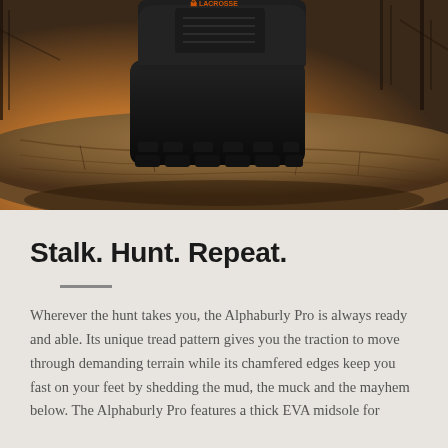[Figure (photo): Close-up outdoor photo of a LaCrosse branded hunting boot stepping over a rough log in a forest setting with golden light in the background. The boot is dark/black with orange LaCrosse logo branding visible on the tongue.]
Stalk. Hunt. Repeat.
Wherever the hunt takes you, the Alphaburly Pro is always ready and able. Its unique tread pattern gives you the traction to move through demanding terrain while its chamfered edges keep you fast on your feet by shedding the mud, the muck and the mayhem below. The Alphaburly Pro features a thick EVA midsole for